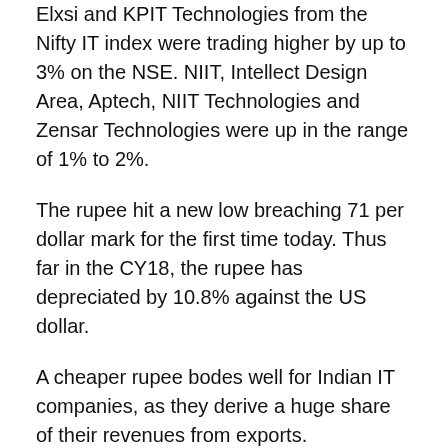Elxsi and KPIT Technologies from the Nifty IT index were trading higher by up to 3% on the NSE. NIIT, Intellect Design Area, Aptech, NIIT Technologies and Zensar Technologies were up in the range of 1% to 2%.
The rupee hit a new low breaching 71 per dollar mark for the first time today. Thus far in the CY18, the rupee has depreciated by 10.8% against the US dollar.
A cheaper rupee bodes well for Indian IT companies, as they derive a huge share of their revenues from exports.
Among the individual stocks, Infosys hit a new high of Rs 1,453, up 2.5% on the BSE in intra-day trade. The stock was up 5% in past five trading sessions after the company has fixed September 5, 2018, as the record date for the purpose of allotment of bonus shares/stock dividend. The stock will turn ex-date for...